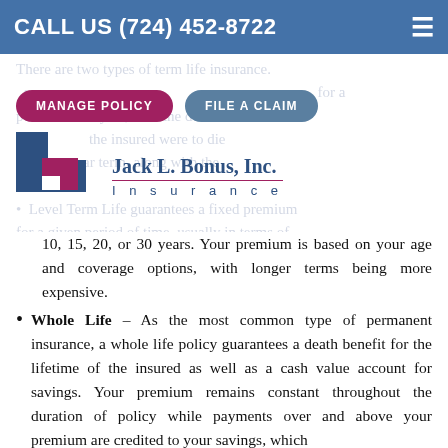CALL US (724) 452-8722
There are two types of term life insurance.
MANAGE POLICY   FILE A CLAIM
[Figure (logo): Jack L. Bonus, Inc. Insurance company logo with blue and red square graphic]
for a period of one year, with the death benefit paid only if the insured were to die that one-year term, along with the t...
Level Term Life guarantees a fixed premium for a given period of time, usually in terms of 10, 15, 20, or 30 years. Your premium is based on your age and coverage options, with longer terms being more expensive.
Whole Life – As the most common type of permanent insurance, a whole life policy guarantees a death benefit for the lifetime of the insured as well as a cash value account for savings. Your premium remains constant throughout the duration of policy while payments over and above your premium are credited to your savings, which